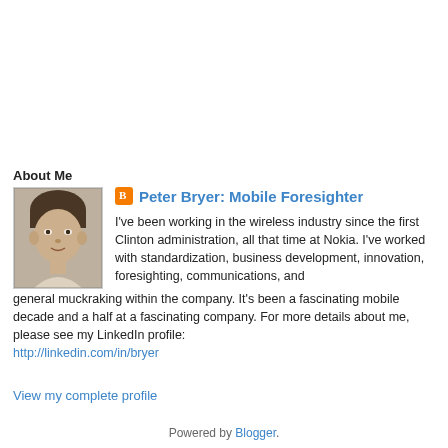About Me
[Figure (photo): Black and white portrait photo of a young child]
Peter Bryer: Mobile Foresighter
I've been working in the wireless industry since the first Clinton administration, all that time at Nokia. I've worked with standardization, business development, innovation, foresighting, communications, and general muckraking within the company. It's been a fascinating mobile decade and a half at a fascinating company. For more details about me, please see my LinkedIn profile:
http://linkedin.com/in/bryer
View my complete profile
Powered by Blogger.